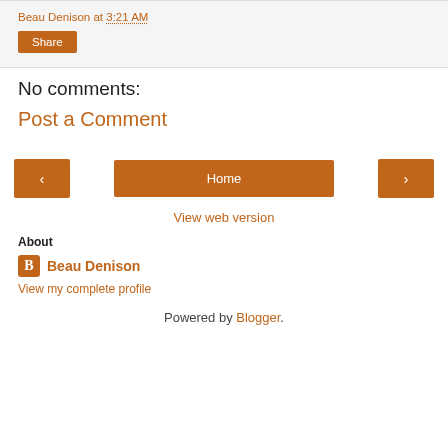Beau Denison at 3:21 AM
Share
No comments:
Post a Comment
‹  Home  ›
View web version
About
Beau Denison
View my complete profile
Powered by Blogger.